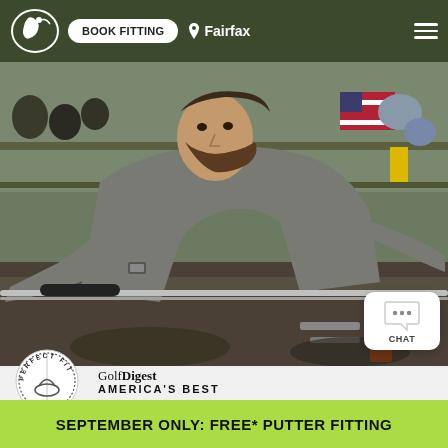BOOK FITTING  Fairfax
[Figure (photo): A man with a beard wearing a gray zip-up fleece jacket works on golf clubs in a golf fitting shop. He leans over a workbench handling a golf shaft or club. The background shows shelves with golf equipment, an American flag, and various tools.]
[Figure (logo): Perfect Fit circular badge/seal logo]
Golf Digest
AMERICA'S BEST
SEPTEMBER ONLY: FREE* PUTTER FITTING